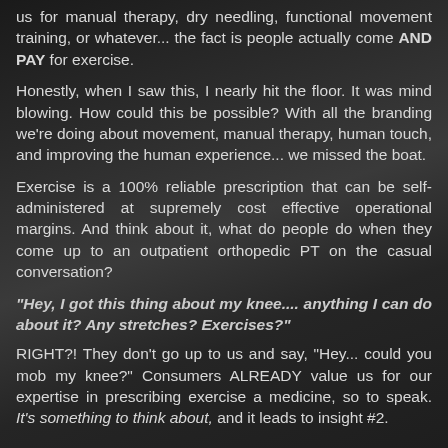us for manual therapy, dry needling, functional movement training, or whatever... the fact is people actually come AND PAY for exercise.
Honestly, when I saw this, I nearly hit the floor. It was mind blowing. How could this be possible? With all the branding we're doing about movement, manual therapy, human touch, and improving the human experience... we missed the boat.
Exercise is a 100% reliable prescription that can be self-administered at supremely cost effective operational margins. And think about it, what do people do when they come up to an outpatient orthopedic PT on the casual conversation?
"Hey, I got this thing about my knee.... anything I can do about it? Any stretches? Exercises?"
RIGHT?! They don't go up to us and say, "Hey... could you mob my knee?" Consumers ALREADY value us for our expertise in prescribing exercise a medicine, so to speak. It's something to think about, and it leads to insight #2.